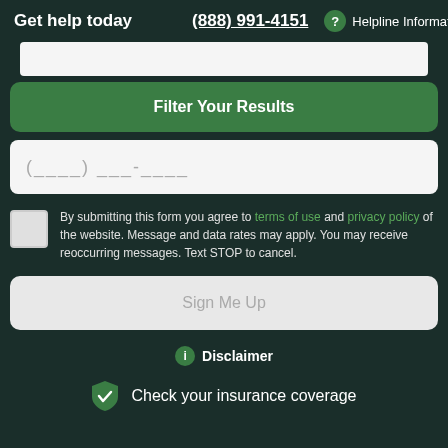Get help today  (888) 991-4151  ? Helpline Information
[Figure (screenshot): Search bar input field (white/light gray)]
Filter Your Results
[Figure (screenshot): Phone number input field with placeholder (___) ___-____]
By submitting this form you agree to terms of use and privacy policy of the website. Message and data rates may apply. You may receive reoccurring messages. Text STOP to cancel.
[Figure (screenshot): Sign Me Up button (grayed out/disabled)]
Disclaimer
Check your insurance coverage